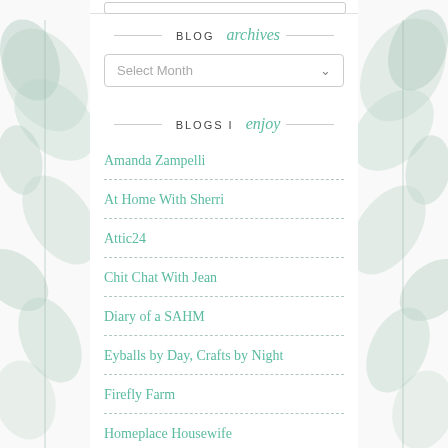BLOG archives
Select Month
BLOGS I enjoy
Amanda Zampelli
At Home With Sherri
Attic24
Chit Chat With Jean
Diary of a SAHM
Eyballs by Day, Crafts by Night
Firefly Farm
Homeplace Housewife